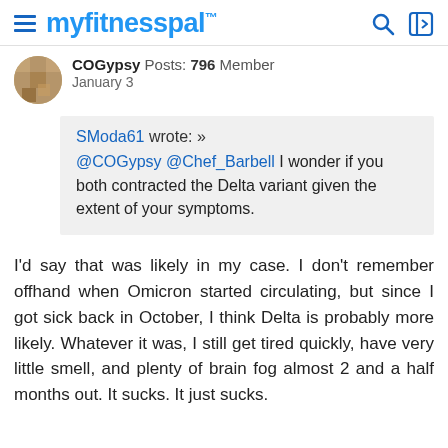myfitnesspal
COGypsy  Posts: 796  Member
January 3
SModa61 wrote: »
@COGypsy @Chef_Barbell I wonder if you both contracted the Delta variant given the extent of your symptoms.
I'd say that was likely in my case. I don't remember offhand when Omicron started circulating, but since I got sick back in October, I think Delta is probably more likely. Whatever it was, I still get tired quickly, have very little smell, and plenty of brain fog almost 2 and a half months out. It sucks. It just sucks.